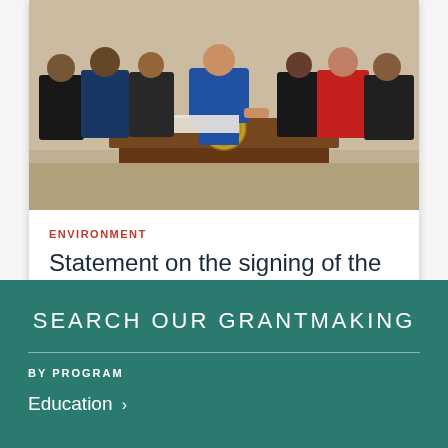[Figure (photo): Photo of a person signing a document at a desk with the Presidential seal, surrounded by a group of people standing behind]
ENVIRONMENT
Statement on the signing of the Inflation Reduction Act
SEARCH OUR GRANTMAKING
BY PROGRAM
Education >